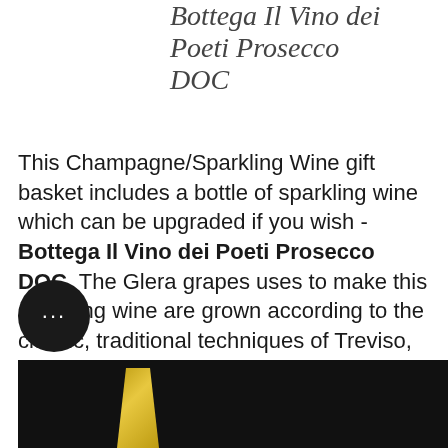Bottega Il Vino dei Poeti Prosecco DOC
This Champagne/Sparkling Wine gift basket includes a bottle of sparkling wine which can be upgraded if you wish - Bottega Il Vino dei Poeti Prosecco DOC. The Glera grapes uses to make this sparkling wine are grown according to the classic, traditional techniques of Treviso, Italy. Over the years, typicality & quality, the distinctive traits of these grapes, have remained unchanged, making Proscecco the most famous & best-selling Italian wine all over the world.
[Figure (photo): Dark background photo showing a bottle, partially visible at bottom of page, with gold/yellow accents]